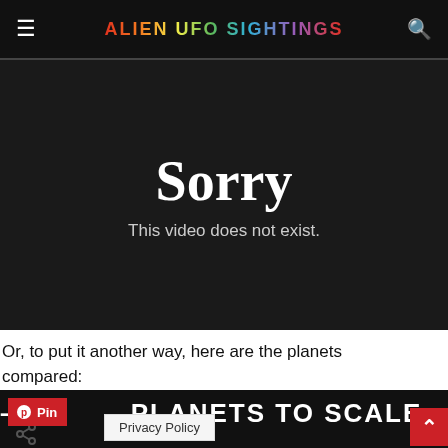ALIEN UFO SIGHTINGS
[Figure (screenshot): Video error screen with dark background showing 'Sorry – This video does not exist.']
Or, to put it another way, here are the planets compared:
[Figure (screenshot): Dark banner image with text 'THE PLANETS TO SCALE' and a Pinterest Pin button overlay, share icon, Privacy Policy button, and scroll-up arrow button]